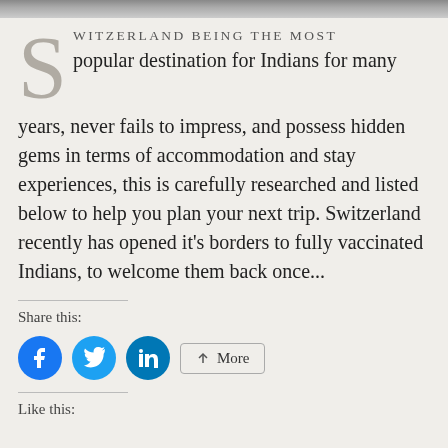[Figure (photo): Top image strip showing partial photograph at top of page]
SWITZERLAND BEING THE MOST popular destination for Indians for many years, never fails to impress, and possess hidden gems in terms of accommodation and stay experiences, this is carefully researched and listed below to help you plan your next trip. Switzerland recently has opened it's borders to fully vaccinated Indians, to welcome them back once...
Share this:
[Figure (infographic): Social sharing buttons: Facebook (blue circle), Twitter (blue circle), LinkedIn (blue circle), and a More button]
Like this: